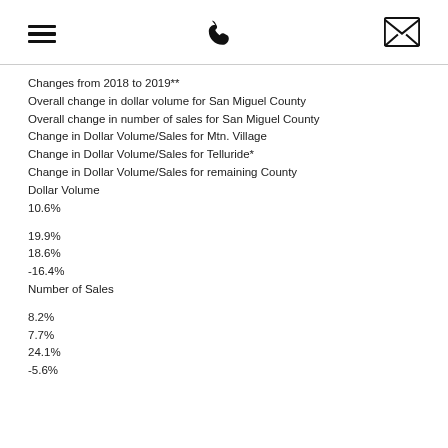[menu icon] [phone icon] [envelope icon]
Changes from 2018 to 2019**
Overall change in dollar volume for San Miguel County
Overall change in number of sales for San Miguel County
Change in Dollar Volume/Sales for Mtn. Village
Change in Dollar Volume/Sales for Telluride*
Change in Dollar Volume/Sales for remaining County
Dollar Volume
10.6%
19.9%
18.6%
-16.4%
Number of Sales
8.2%
7.7%
24.1%
-5.6%